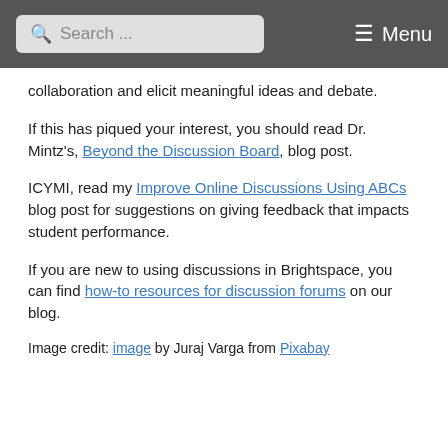Search ... Menu
collaboration and elicit meaningful ideas and debate.
If this has piqued your interest, you should read Dr. Mintz's, Beyond the Discussion Board, blog post.
ICYMI, read my Improve Online Discussions Using ABCs blog post for suggestions on giving feedback that impacts student performance.
If you are new to using discussions in Brightspace, you can find how-to resources for discussion forums on our blog.
Image credit: image by Juraj Varga from Pixabay